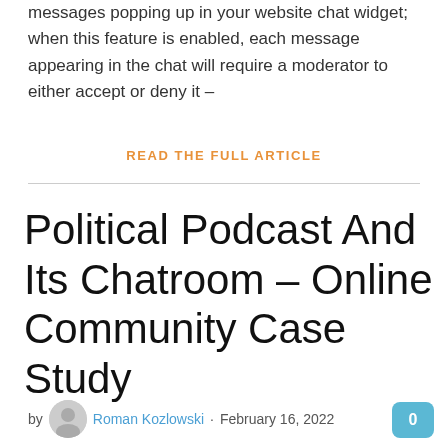messages popping up in your website chat widget; when this feature is enabled, each message appearing in the chat will require a moderator to either accept or deny it –
READ THE FULL ARTICLE
Political Podcast And Its Chatroom – Online Community Case Study
by Roman Kozlowski · February 16, 2022